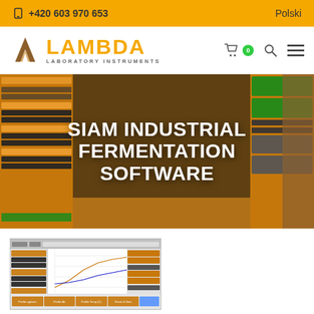+420 603 970 653 | Polski
[Figure (logo): Lambda Laboratory Instruments logo with lambda symbol in brown and LAMBDA text in orange/gold]
[Figure (screenshot): SIAM Industrial Fermentation Software hero banner showing fermentation control software interface with orange control panels on left and right, dark chart area in center, with large white text overlay reading SIAM INDUSTRIAL FERMENTATION SOFTWARE]
[Figure (screenshot): Thumbnail screenshot of the SIAM fermentation software interface showing control panels, orange buttons, and a chart area with fermentation data]